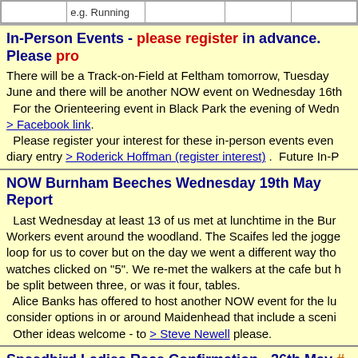|  | e.g. Running |  |  |  |
| --- | --- | --- | --- | --- |
|  |
In-Person Events - please register in advance. Please pro…
There will be a Track-on-Field at Feltham tomorrow, Tuesday… June and there will be another NOW event on Wednesday 16th… For the Orienteering event in Black Park the evening of Wedn… > Facebook link. Please register your interest for these in-person events even… diary entry > Roderick Hoffman (register interest) . Future In-P…
NOW Burnham Beeches Wednesday 19th May Report
Last Wednesday at least 13 of us met at lunchtime in the Bur… Workers event around the woodland. The Scaifes led the jogge… loop for us to cover but on the day we went a different way tho… watches clicked on "5". We re-met the walkers at the cafe but h… be split between three, or was it four, tables. Alice Banks has offered to host another NOW event for the lu… consider options in or around Maidenhead that include a sceni… Other ideas welcome - to > Steve Newell please.
Speedbird Ladies Race Confirmation - 26th May # Runne…
Final call for runners and volunteers for our Speedbird Ladies… Wednesday 26th May.